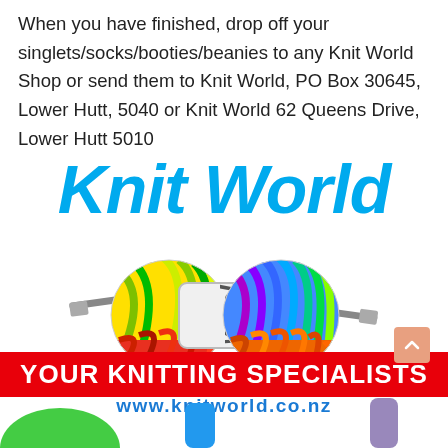When you have finished, drop off your singlets/socks/booties/beanies to any Knit World Shop or send them to Knit World, PO Box 30645, Lower Hutt, 5040 or Knit World 62 Queens Drive, Lower Hutt 5010
[Figure (logo): Knit World logo: large blue italic bold text 'Knit World' above a colorful wool ball with knitting needles through it]
YOUR KNITTING SPECIALISTS
www.knitworld.co.nz